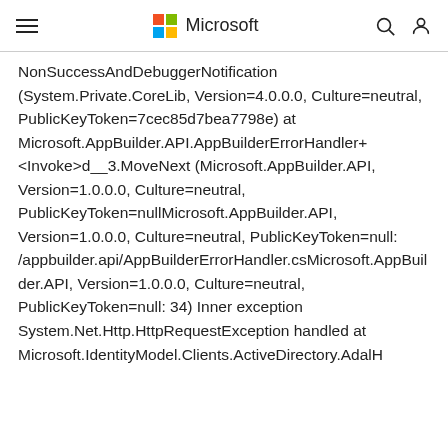Microsoft
NonSuccessAndDebuggerNotification (System.Private.CoreLib, Version=4.0.0.0, Culture=neutral, PublicKeyToken=7cec85d7bea7798e) at Microsoft.AppBuilder.API.AppBuilderErrorHandler+<Invoke>d__3.MoveNext (Microsoft.AppBuilder.API, Version=1.0.0.0, Culture=neutral, PublicKeyToken=nullMicrosoft.AppBuilder.API, Version=1.0.0.0, Culture=neutral, PublicKeyToken=null: /appbuilder.api/AppBuilderErrorHandler.csMicrosoft.AppBuilder.API, Version=1.0.0.0, Culture=neutral, PublicKeyToken=null: 34) Inner exception System.Net.Http.HttpRequestException handled at Microsoft.IdentityModel.Clients.ActiveDirectory.AdalH